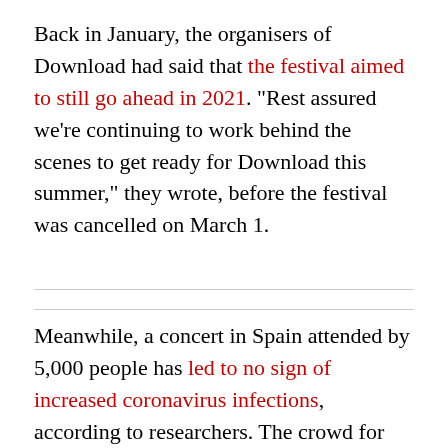Back in January, the organisers of Download had said that the festival aimed to still go ahead in 2021. "Rest assured we're continuing to work behind the scenes to get ready for Download this summer," they wrote, before the festival was cancelled on March 1.
Meanwhile, a concert in Spain attended by 5,000 people has led to no sign of increased coronavirus infections, according to researchers. The crowd for the gig wore masks and had all tested negative for coronavirus prior to the